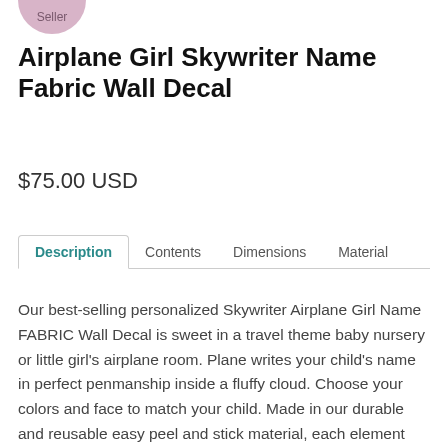[Figure (illustration): Seller badge/label - pink rounded pill shape with text 'Seller']
Airplane Girl Skywriter Name Fabric Wall Decal
$75.00 USD
Description   Contents   Dimensions   Material
Our best-selling personalized Skywriter Airplane Girl Name FABRIC Wall Decal is sweet in a travel theme baby nursery or little girl's airplane room. Plane writes your child's name in perfect penmanship inside a fluffy cloud. Choose your colors and face to match your child. Made in our durable and reusable easy peel and stick material, each element can arranged separately anywhere around your room to create your own scene. We include cute aviator sunglasses for your little pilot to wear or not.